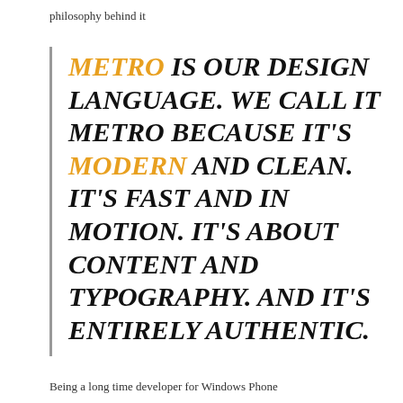philosophy behind it
METRO IS OUR DESIGN LANGUAGE. WE CALL IT METRO BECAUSE IT'S MODERN AND CLEAN. IT'S FAST AND IN MOTION. IT'S ABOUT CONTENT AND TYPOGRAPHY. AND IT'S ENTIRELY AUTHENTIC.
Being a long time developer for Windows Phone